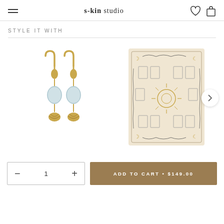s-kin studio
STYLE IT WITH
[Figure (photo): Gold hoop drop earrings with light blue/aqua stone beads and gold shell charms]
[Figure (photo): A tarot card spread layout illustration on cream/beige background with moon phases, sun, and botanical border details]
ADD TO CART • $149.00